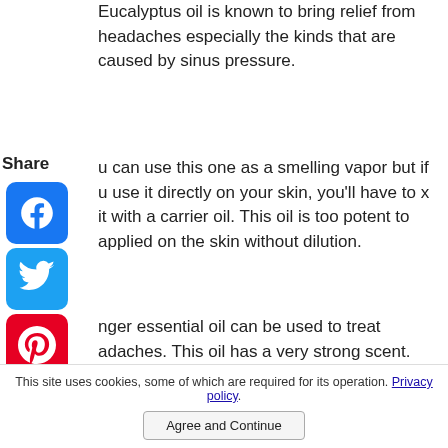Eucalyptus oil is known to bring relief from headaches especially the kinds that are caused by sinus pressure.
Share
[Figure (infographic): Social share buttons: Facebook, Twitter, Pinterest, Tumblr, Reddit, WhatsApp]
u can use this one as a smelling vapor but if u use it directly on your skin, you'll have to x it with a carrier oil. This oil is too potent to applied on the skin without dilution.
nger essential oil can be used to treat adaches. This oil has a very strong scent.
s usually used by placing a few of the drops oil into water to dilute it. This is then used as vapor or massaged onto the skin where the he is.
This site uses cookies, some of which are required for its operation. Privacy policy. Agree and Continue